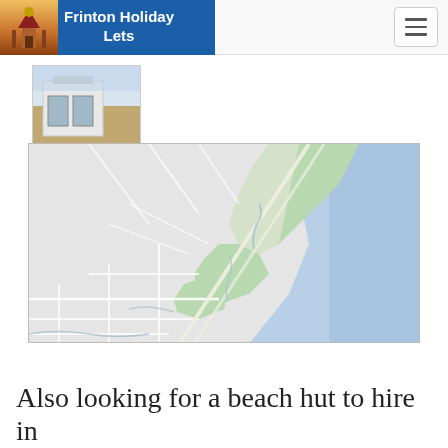Frinton Holiday Lets
[Figure (photo): Thumbnail image of a property/beach hut exterior]
[Figure (map): Google Maps style aerial/street map showing the coastal area of Frinton, with green open spaces and blue sea to the right]
Also looking for a beach hut to hire in